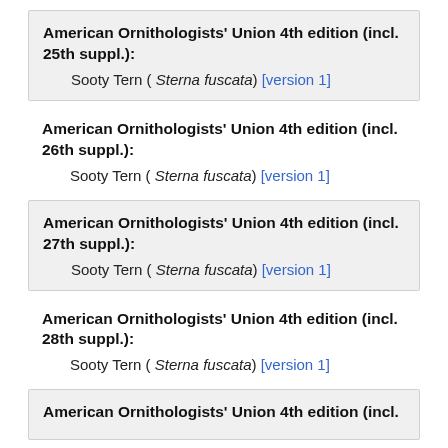American Ornithologists' Union 4th edition (incl. 25th suppl.):
        Sooty Tern ( Sterna fuscata) [version 1]
American Ornithologists' Union 4th edition (incl. 26th suppl.):
        Sooty Tern ( Sterna fuscata) [version 1]
American Ornithologists' Union 4th edition (incl. 27th suppl.):
        Sooty Tern ( Sterna fuscata) [version 1]
American Ornithologists' Union 4th edition (incl. 28th suppl.):
        Sooty Tern ( Sterna fuscata) [version 1]
American Ornithologists' Union 4th edition (incl.